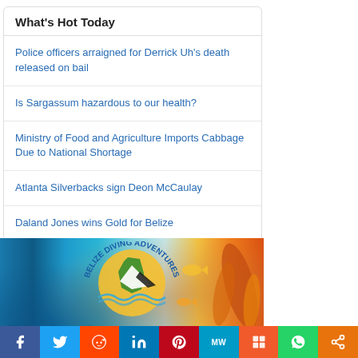What's Hot Today
Police officers arraigned for Derrick Uh's death released on bail
Is Sargassum hazardous to our health?
Ministry of Food and Agriculture Imports Cabbage Due to National Shortage
Atlanta Silverbacks sign Deon McCaulay
Daland Jones wins Gold for Belize
[Figure (illustration): Belize Diving Adventures advertisement banner showing coral reef underwater scene with logo, text: Diving • Snorkeling, Fishing • Blue Hole, Cave Tubing • Maya Ruins]
[Figure (infographic): Social sharing bar with Facebook, Twitter, Reddit, LinkedIn, Pinterest, MeWe, Mix, WhatsApp, and share buttons]